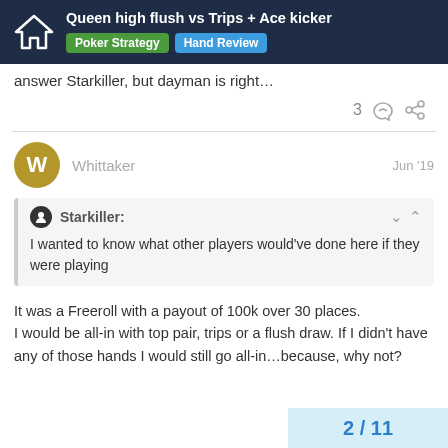Queen high flush vs Trips + Ace kicker | Poker Strategy | Hand Review
answer Starkiller, but dayman is right…
3 ♡ 🔗
Whittaker  Jun '19
Starkiller: I wanted to know what other players would've done here if they were playing
It was a Freeroll with a payout of 100k over 30 places.
I would be all-in with top pair, trips or a flush draw. If I didn't have any of those hands I would still go all-in…because, why not?
2 / 11